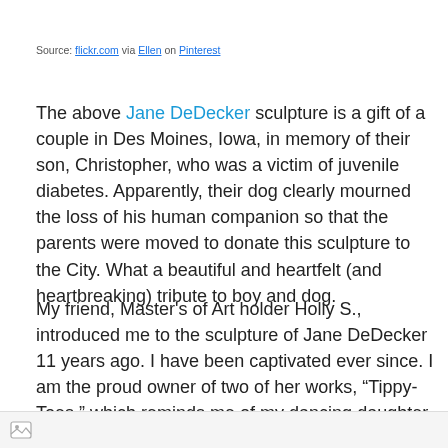Source: flickr.com via Ellen on Pinterest
The above Jane DeDecker sculpture is a gift of a couple in Des Moines, Iowa, in memory of their son, Christopher, who was a victim of juvenile diabetes. Apparently, their dog clearly mourned the loss of his human companion so that the parents were moved to donate this sculpture to the City. What a beautiful and heartfelt (and heartbreaking) tribute to boy and dog.
My friend, Master’s of Art holder Holly S., introduced me to the sculpture of Jane DeDecker 11 years ago. I have been captivated ever since. I am the proud owner of two of her works, “Tippy-Toes,” which reminds me of my dancing daughter,
[Figure (photo): Image strip at bottom of page with small image icon]